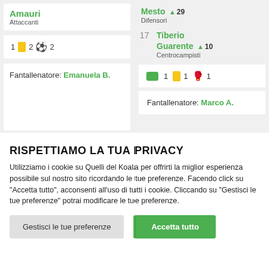Amauri
Attaccanti
1 [yellow card] 2 [soccer ball] 2
Fantallenatore: Emanuela B.
Mesto ▲29
Difensori
17 Tiberio Guarente ▲10
Centrocampisti
[chat] 1 [yellow card] 1 [boot] 1
Fantallenatore: Marco A.
RISPETTIAMO LA TUA PRIVACY
Utilizziamo i cookie su Quelli del Koala per offrirti la miglior esperienza possibile sul nostro sito ricordando le tue preferenze. Facendo click su "Accetta tutto", acconsenti all'uso di tutti i cookie. Cliccando su "Gestisci le tue preferenze" potrai modificare le tue preferenze.
Gestisci le tue preferenze
Accetta tutto